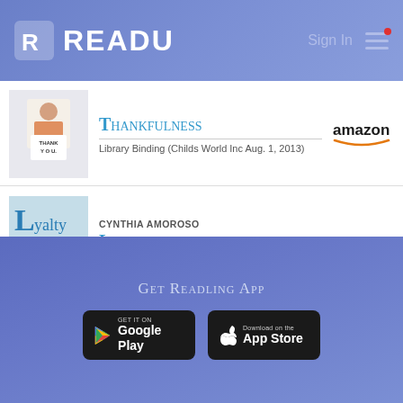READU — Sign In
THANKFULNESS — Library Binding (Childs World Inc Aug. 1, 2013)
CYNTHIA AMOROSO — LOYALTY — Library Binding (Childs World Inc Aug. 1, 2013)
JANE BELK MONCURE — JOHN'S CHOICE: A STORY ABOUT H... — Library Binding (Childrens Pr April 1, 1983)
Get Readling App
[Figure (screenshot): Google Play store button]
[Figure (screenshot): App Store download button]